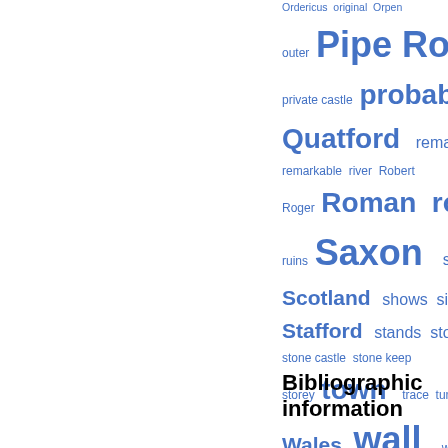[Figure (infographic): Word cloud with terms related to castles/medieval history in varying sizes and blue color. Larger words indicate higher frequency: Pipe Rolls, Roman, Saxon, wall, town, Wales, William, Quatford, probably, round.]
Bibliographic information